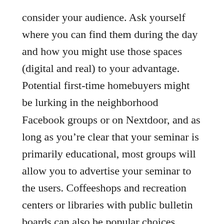consider your audience. Ask yourself where you can find them during the day and how you might use those spaces (digital and real) to your advantage. Potential first-time homebuyers might be lurking in the neighborhood Facebook groups or on Nextdoor, and as long as you're clear that your seminar is primarily educational, most groups will allow you to advertise your seminar to the users. Coffeeshops and recreation centers or libraries with public bulletin boards can also be popular choices.
If your CRM is in good shape and you have contact information and sales journey stages determined for your contacts, you can also use targeted email